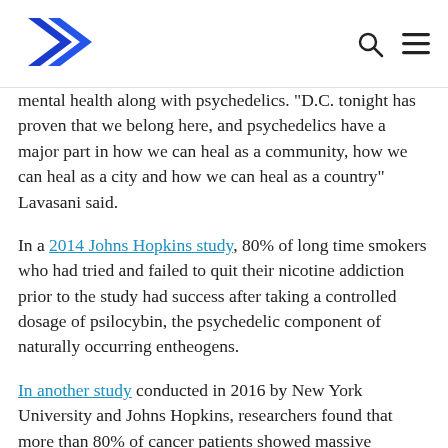[Logo] [Search icon] [Menu icon]
mental health along with psychedelics. "D.C. tonight has proven that we belong here, and psychedelics have a major part in how we can heal as a community, how we can heal as a city and how we can heal as a country" Lavasani said.
In a 2014 Johns Hopkins study, 80% of long time smokers who had tried and failed to quit their nicotine addiction prior to the study had success after taking a controlled dosage of psilocybin, the psychedelic component of naturally occurring entheogens.
In another study conducted in 2016 by New York University and Johns Hopkins, researchers found that more than 80% of cancer patients showed massive reductions in their anxiety and depression after taking a psychedelic compound — a shift that